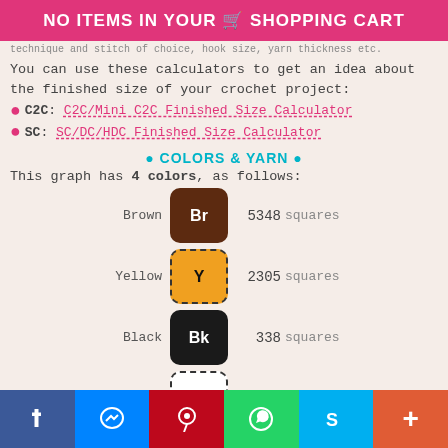NO ITEMS IN YOUR SHOPPING CART
technique and stitch of choice, hook size, yarn thickness etc.
You can use these calculators to get an idea about the finished size of your crochet project:
C2C: C2C/Mini C2C Finished Size Calculator
SC: SC/DC/HDC Finished Size Calculator
• COLORS & YARN •
This graph has 4 colors, as follows:
| Color | Abbreviation | Count | Unit |
| --- | --- | --- | --- |
| Brown | Br | 5348 | squares |
| Yellow | Y | 2305 | squares |
| Black | Bk | 338 | squares |
| White | Wh | 9 | squares |
| TOTAL: |  | 8000 | squares |
Facebook | Messenger | Pinterest | WhatsApp | Skype | More